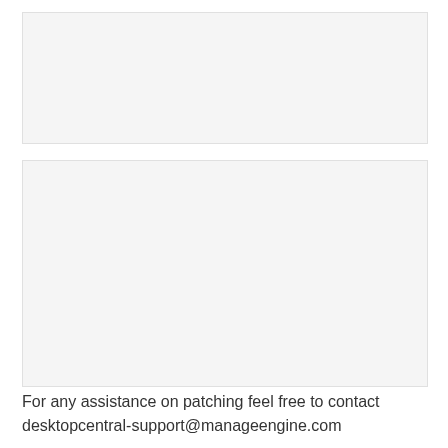[Figure (other): Empty light gray placeholder box (top)]
[Figure (other): Empty light gray placeholder box (bottom)]
For any assistance on patching feel free to contact desktopcentral-support@manageengine.com